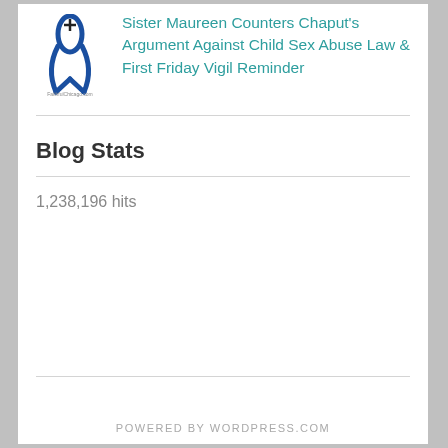[Figure (logo): Blue ribbon awareness logo with small website text below]
Sister Maureen Counters Chaput's Argument Against Child Sex Abuse Law & First Friday Vigil Reminder
Blog Stats
1,238,196 hits
POWERED BY WORDPRESS.COM